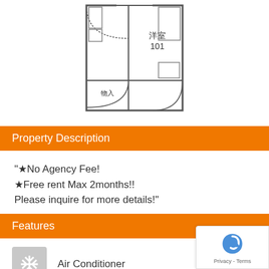[Figure (schematic): Japanese apartment floor plan showing room 洋室 101 with entrance (物入), bathroom arc, and furniture layout]
Property Description
"★No Agency Fee!
★Free rent Max 2months!!
Please inquire for more details!"
Features
Air Conditioner
Air Conditioner / Heater